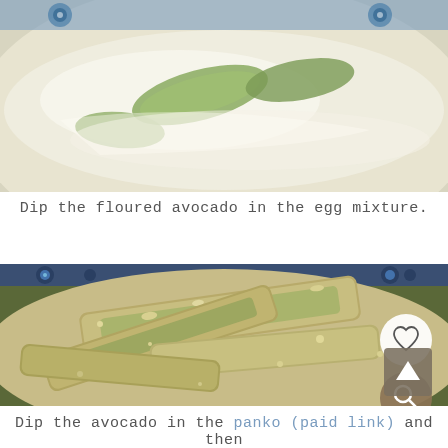[Figure (photo): Avocado slices being dipped in an egg mixture in a decorative blue and white bowl, close-up food preparation photo]
Dip the floured avocado in the egg mixture.
[Figure (photo): Avocado slices coated in panko breadcrumbs arranged in a decorative blue Polish pottery bowl, with heart and search overlay buttons visible]
Dip the avocado in the panko (paid link) and then